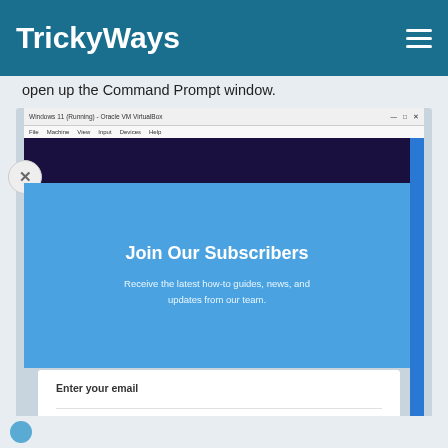TrickyWays
open up the Command Prompt window.
[Figure (screenshot): A screenshot of Windows 11 running in a VirtualBox VM window, overlaid by a newsletter subscription modal popup with a close (X) button. The modal has a blue header section reading 'Join Our Subscribers' with subtitle text, and a white form section below with 'Enter your email' and 'Subscribe' fields.]
Join Our Subscribers
Receive the latest how-to guides, news, and updates from our team.
Enter your email
Subscribe